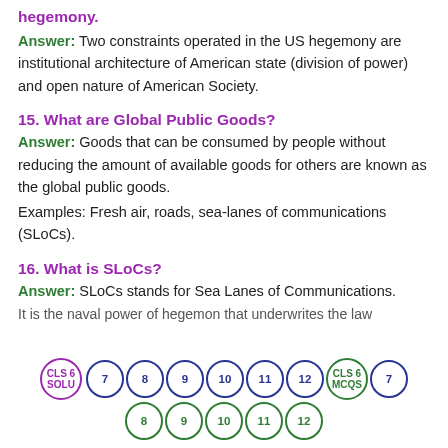hegemony.
Answer: Two constraints operated in the US hegemony are institutional architecture of American state (division of power) and open nature of American Society.
15. What are Global Public Goods?
Answer: Goods that can be consumed by people without reducing the amount of available goods for others are known as the global public goods.
Examples: Fresh air, roads, sea-lanes of communications (SLoCs).
16. What is SLoCs?
Answer: SLoCs stands for Sea Lanes of Communications.
It is the naval power of hegemon that underwrites the law
[Figure (other): Navigation circles row: CLS 6 SOLU, 7, 8, 9, 10, 11, 12, CLS 6 MCQS, 7 (top row, dark blue/purple); 8, 9, 10, 11, 12 (bottom row, green)]